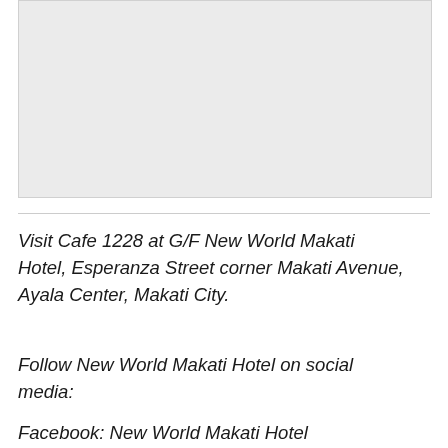[Figure (photo): A large light gray rectangular image placeholder area]
Visit Cafe 1228 at G/F New World Makati Hotel, Esperanza Street corner Makati Avenue, Ayala Center, Makati City.
Follow New World Makati Hotel on social media:
Facebook: New World Makati Hotel